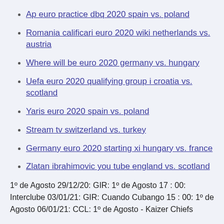Ap euro practice dbq 2020 spain vs. poland
Romania calificari euro 2020 wiki netherlands vs. austria
Where will be euro 2020 germany vs. hungary
Uefa euro 2020 qualifying group i croatia vs. scotland
Yaris euro 2020 spain vs. poland
Stream tv switzerland vs. turkey
Germany euro 2020 starting xi hungary vs. france
Zlatan ibrahimovic you tube england vs. scotland
1º de Agosto 29/12/20: GIR: 1º de Agosto 17 : 00: Interclube 03/01/21: GIR: Cuando Cubango 15 : 00: 1º de Agosto 06/01/21: CCL: 1º de Agosto - Kaizer Chiefs